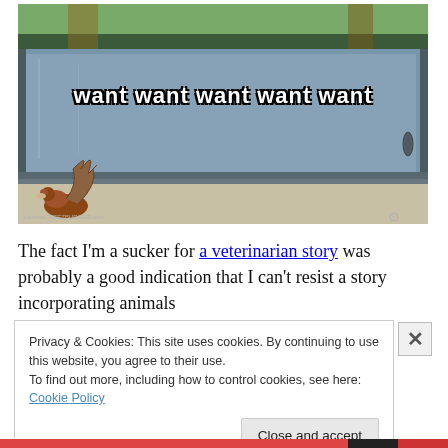[Figure (photo): A squirrel looking through a glass door with meme text overlay reading 'want want want want want']
The fact I'm a sucker for a veterinarian story was probably a good indication that I can't resist a story incorporating animals
Privacy & Cookies: This site uses cookies. By continuing to use this website, you agree to their use. To find out more, including how to control cookies, see here: Cookie Policy